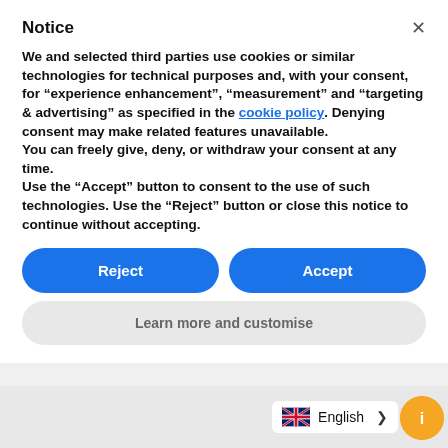Notice
We and selected third parties use cookies or similar technologies for technical purposes and, with your consent, for “experience enhancement”, “measurement” and “targeting & advertising” as specified in the cookie policy. Denying consent may make related features unavailable.
You can freely give, deny, or withdraw your consent at any time.
Use the “Accept” button to consent to the use of such technologies. Use the “Reject” button or close this notice to continue without accepting.
Reject
Accept
Learn more and customise
English